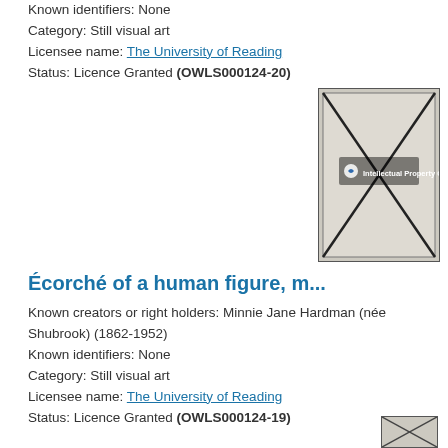Known identifiers: None
Category: Still visual art
Licensee name: The University of Reading
Status: Licence Granted (OWLS000124-20)
[Figure (photo): Photograph of an artwork showing an écorché figure, watermarked with Intellectual Property Office logo and X pattern overlay]
Écorché of a human figure, m...
Known creators or right holders: Minnie Jane Hardman (née Shubrook) (1862-1952)
Known identifiers: None
Category: Still visual art
Licensee name: The University of Reading
Status: Licence Granted (OWLS000124-19)
[Figure (photo): Partial photograph visible at bottom right corner]